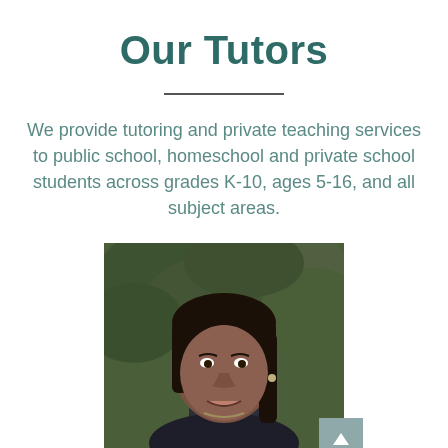Our Tutors
We provide tutoring and private teaching services to public school, homeschool and private school students across grades K-10, ages 5-16, and all subject areas.
[Figure (photo): Portrait photo of a middle-aged Black woman with long dark hair pulled back, smiling slightly, wearing a dark top and earring, with green foliage in the background.]